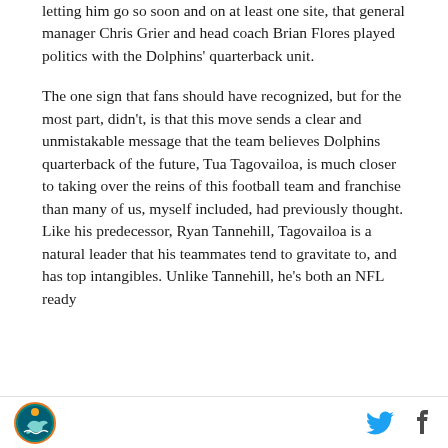letting him go so soon and on at least one site, that general manager Chris Grier and head coach Brian Flores played politics with the Dolphins' quarterback unit.
The one sign that fans should have recognized, but for the most part, didn't, is that this move sends a clear and unmistakable message that the team believes Dolphins quarterback of the future, Tua Tagovailoa, is much closer to taking over the reins of this football team and franchise than many of us, myself included, had previously thought. Like his predecessor, Ryan Tannehill, Tagovailoa is a natural leader that his teammates tend to gravitate to, and has top intangibles. Unlike Tannehill, he's both an NFL ready
Miami Dolphins logo | Twitter icon | Facebook icon